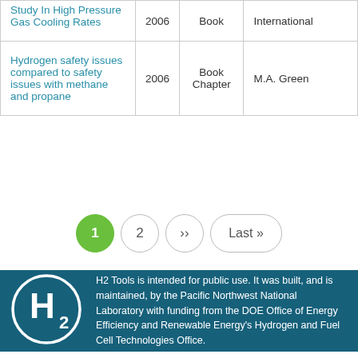| Title | Year | Type | Author |
| --- | --- | --- | --- |
| Study In High Pressure Gas Cooling Rates | 2006 | Book | International |
| Hydrogen safety issues compared to safety issues with methane and propane | 2006 | Book Chapter | M.A. Green |
Pagination: 1, 2, >>, Last »
H2 Tools is intended for public use. It was built, and is maintained, by the Pacific Northwest National Laboratory with funding from the DOE Office of Energy Efficiency and Renewable Energy's Hydrogen and Fuel Cell Technologies Office.